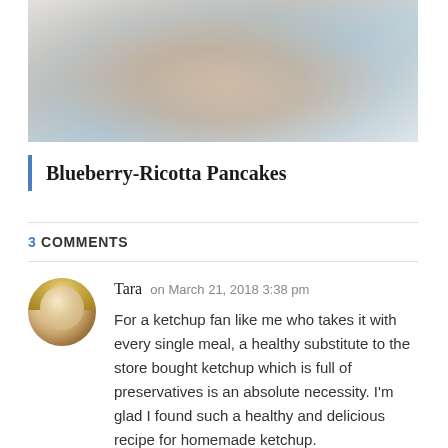[Figure (photo): A blurred/faded food photo showing what appears to be blueberry-ricotta pancakes, with warm brown and cool blue-grey tones.]
Blueberry-Ricotta Pancakes
3 COMMENTS
Tara on March 21, 2018 3:38 pm
For a ketchup fan like me who takes it with every single meal, a healthy substitute to the store bought ketchup which is full of preservatives is an absolute necessity. I'm glad I found such a healthy and delicious recipe for homemade ketchup.